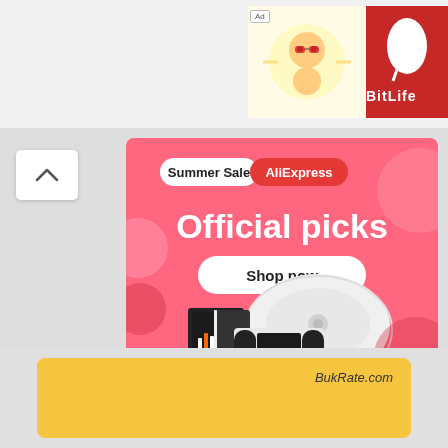[Figure (screenshot): BitLife - Life S app advertisement banner in top right area of screen]
[Figure (infographic): AliExpress Summer Sale advertisement with pink background showing 'Official picks' and 'Shop now' button, with electronics products including robot vacuum, gaming console, and Nintendo Switch OLED]
[Figure (infographic): BukRate.com advertisement with yellow/gold background]